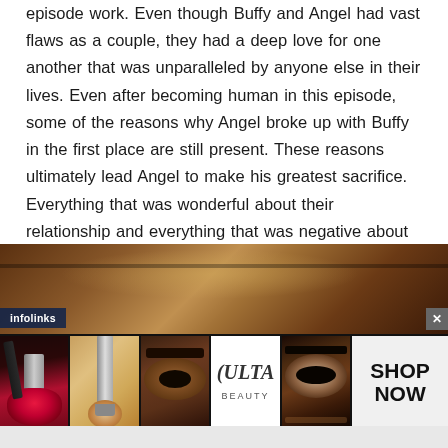episode work. Even though Buffy and Angel had vast flaws as a couple, they had a deep love for one another that was unparalleled by anyone else in their lives. Even after becoming human in this episode, some of the reasons why Angel broke up with Buffy in the first place are still present. These reasons ultimately lead Angel to make his greatest sacrifice. Everything that was wonderful about their relationship and everything that was negative about their relationship is explored in just 42 minutes.
[Figure (photo): An advertisement for Ulta Beauty showing a close-up background photo of a woman's face, with an infolinks badge overlay, a close button, and a bottom strip containing five cells: red lips with a makeup brush, a powder brush on a golden background, a close-up eye with makeup, the Ulta Beauty logo on white, a smoky eye, and a 'SHOP NOW' call to action on light background.]